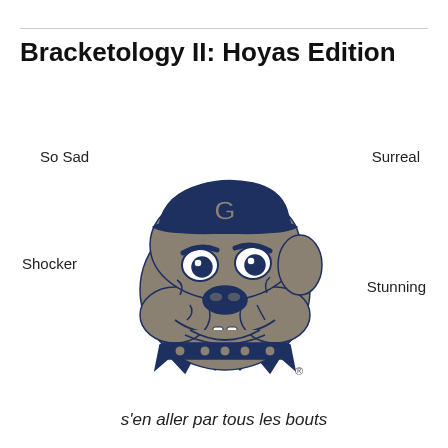Bracketology II: Hoyas Edition
[Figure (logo): Georgetown Hoyas bulldog mascot logo in navy blue and gray, wearing a cap with letter G, with spiked collar. Registered trademark symbol visible at bottom right. Words 'So Sad', 'Surreal', 'Shocker', 'Stunning' placed around the logo.]
s'en aller par tous les bouts